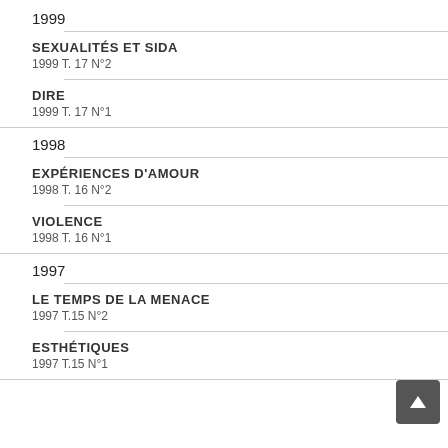1999
SEXUALITÉS ET SIDA
1999 T. 17 N°2
DIRE
1999 T. 17 N°1
1998
EXPÉRIENCES D'AMOUR
1998 T. 16 N°2
VIOLENCE
1998 T. 16 N°1
1997
LE TEMPS DE LA MENACE
1997 T.15 N°2
ESTHÉTIQUES
1997 T.15 N°1